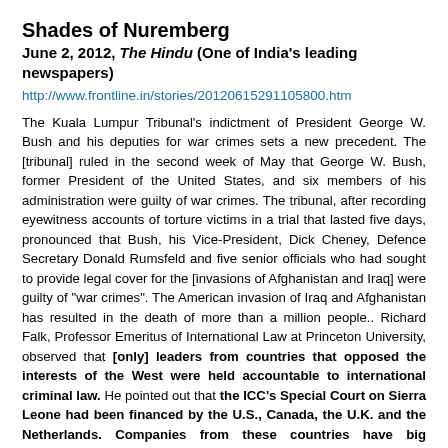Shades of Nuremberg
June 2, 2012, The Hindu (One of India's leading newspapers)
http://www.frontline.in/stories/20120615291105800.htm
The Kuala Lumpur Tribunal's indictment of President George W. Bush and his deputies for war crimes sets a new precedent. The [tribunal] ruled in the second week of May that George W. Bush, former President of the United States, and six members of his administration were guilty of war crimes. The tribunal, after recording eyewitness accounts of torture victims in a trial that lasted five days, pronounced that Bush, his Vice-President, Dick Cheney, Defence Secretary Donald Rumsfeld and five senior officials who had sought to provide legal cover for the [invasions of Afghanistan and Iraq] were guilty of "war crimes". The American invasion of Iraq and Afghanistan has resulted in the death of more than a million people.. Richard Falk, Professor Emeritus of International Law at Princeton University, observed that [only] leaders from countries that opposed the interests of the West were held accountable to international criminal law. He pointed out that the ICC's Special Court on Sierra Leone had been financed by the U.S., Canada, the U.K. and the Netherlands. Companies from these countries have big interests in the diamond trade. With Taylor now out of the scene, Western companies